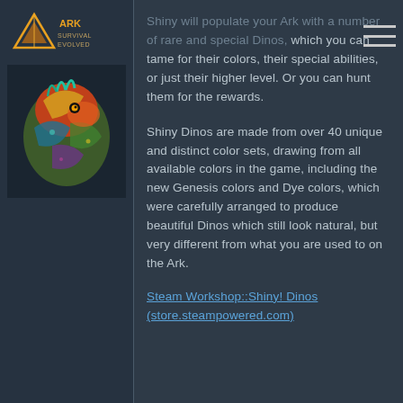[Figure (logo): ARK Survival Evolved logo - triangular icon with text]
[Figure (photo): Colorful shiny dinosaur with vibrant rainbow-like colors, close-up photo]
Shiny will populate your Ark with a number of rare and special Dinos, which you can tame for their colors, their special abilities, or just their higher level. Or you can hunt them for the rewards.
Shiny Dinos are made from over 40 unique and distinct color sets, drawing from all available colors in the game, including the new Genesis colors and Dye colors, which were carefully arranged to produce beautiful Dinos which still look natural, but very different from what you are used to on the Ark.
Steam Workshop::Shiny! Dinos (store.steampowered.com)